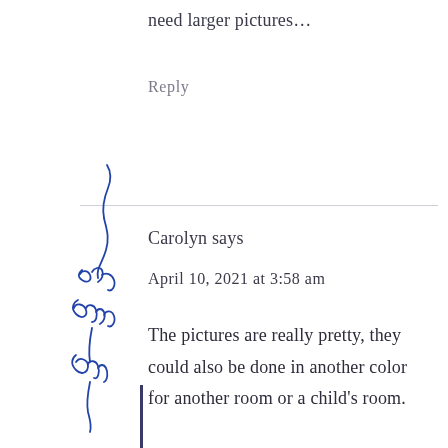need larger pictures...
Reply
Carolyn says
April 10, 2021 at 3:58 am
The pictures are really pretty, they could also be done in another color for another room or a child's room.